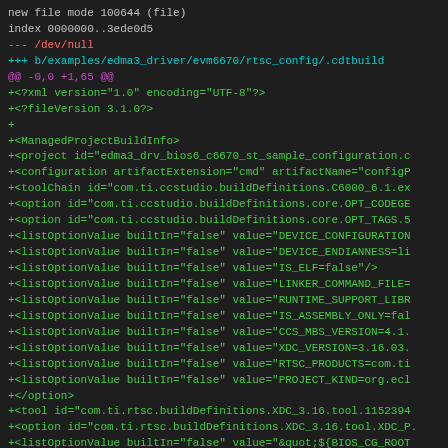new file mode 100644 (file)
index 0000000..3ede0d5
--- /dev/null
+++ b/examples/edma3_driver/evm6670/rtsc_config/.cdtbuild
@@ -0,0 +1,65 @@
+<?xml version="1.0" encoding="UTF-8"?>
+<?fileVersion 3.1.0?>
+
+<ManagedProjectBuildInfo>
+<project id="edma3_drv_bios6_c6670_st_sample_configuration.c
+<configuration artifactExtension="cmd" artifactName="configP
+<toolChain id="com.ti.ccstudio.buildDefinitions.C6000_6.1.ex
+<option id="com.ti.ccstudio.buildDefinitions.core.OPT_CODEGE
+<option id="com.ti.ccstudio.buildDefinitions.core.OPT_TAGS.5
+<listOptionValue builtIn="false" value="DEVICE_CONFIGURATION
+<listOptionValue builtIn="false" value="DEVICE_ENDIANNESS=li
+<listOptionValue builtIn="false" value="IS_ELF=false"/>
+<listOptionValue builtIn="false" value="LINKER_COMMAND_FILE=
+<listOptionValue builtIn="false" value="RUNTIME_SUPPORT_LIBR
+<listOptionValue builtIn="false" value="IS_ASSEMBLY_ONLY=fal
+<listOptionValue builtIn="false" value="CCS_MBS_VERSION=4.1.
+<listOptionValue builtIn="false" value="XDC_VERSION=3.16.03.
+<listOptionValue builtIn="false" value="RTSC_PRODUCTS=com.ti
+<listOptionValue builtIn="false" value="PROJECT_KIND=org.ecl
+</option>
+<tool id="com.ti.rtsc.buildDefinitions.XDC_3.16.tool.1152394
+<option id="com.ti.rtsc.buildDefinitions.XDC_3.16.tool.XDC_P.
+<listOptionValue builtIn="false" value="&quot;${BIOS_CG_ROOT
+<listOptionValue builtIn="false" value="&quot;../../../../..
+</option>
+<option id="com.ti.rtsc.buildDefinitions.XDC_3.16.tool.OUTPU
+<option id="com.ti.rtsc.buildDefinitions.XDC_3.16.tool.TARGE